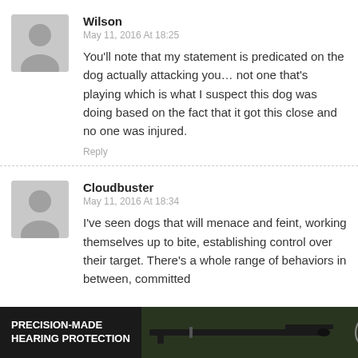Wilson
May 11, 2016 At 18:25
You'll note that my statement is predicated on the dog actually attacking you… not one that's playing which is what I suspect this dog was doing based on the fact that it got this close and no one was injured.
Reply
Cloudbuster
May 11, 2016 At 18:34
I've seen dogs that will menace and feint, working themselves up to bite, establishing control over their target. There's a whole range of behaviors in between, committed
[Figure (photo): Advertisement banner at the bottom reading PRECISION-MADE HEARING PROTECTION with an image of a rifle and a logo]